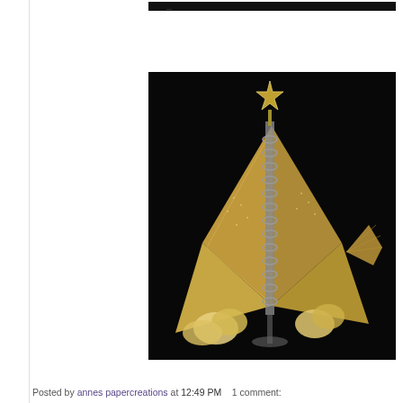[Figure (photo): Top partial image strip showing a dark background with light text (partially visible blog post image)]
[Figure (photo): A handmade paper craft creation resembling a Christmas tree shape, made from cream/gold colored paper with intricate cutwork, lace patterns, spiral binding, decorative flowers, and a metallic star topper, photographed against a black background]
Posted by annes papercreations at 12:49 PM    1 comment: